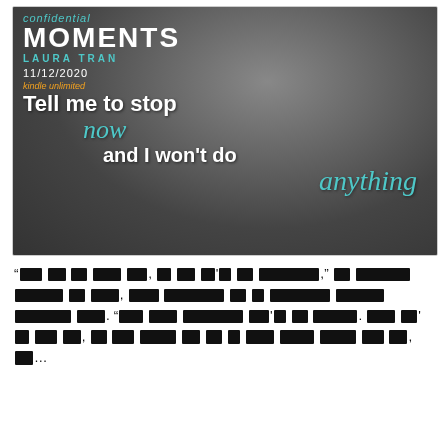[Figure (illustration): Book cover for 'Confidential Moments' by Laura Tran, release date 11/12/2020, Kindle Unlimited. Shows two men in close romantic pose, foreheads touching. Text overlay: 'Tell me to stop now and I won't do anything']
"Tell me to stop now, and I won't do anything," he whispered against my ear, his voice breathtakingly in a headspace too focused on tone. "You know communication don't be one-sided. Then I'd have you, to know yourself how can and you a hot stone rested on you." hi...